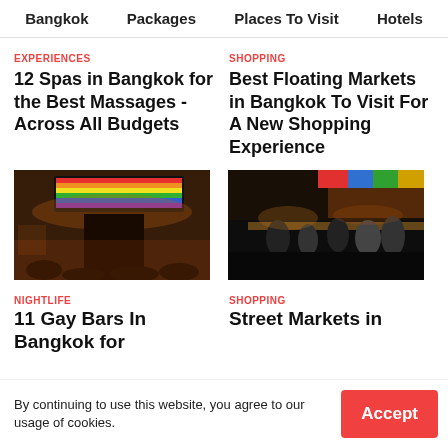Bangkok   Packages   Places To Visit   Hotels
EXPERIENCES
12 Spas in Bangkok for the Best Massages - Across All Budgets
SHOPPING
Best Floating Markets in Bangkok To Visit For A New Shopping Experience
[Figure (photo): Night scene outside a bar with rainbow flag illuminated above the entrance, crowd gathered in front]
[Figure (photo): Busy night market with colorful stalls and merchandise, crowds of shoppers browsing]
NIGHTLIFE
11 Gay Bars In Bangkok for
SHOPPING
Street Markets in
By continuing to use this website, you agree to our usage of cookies.